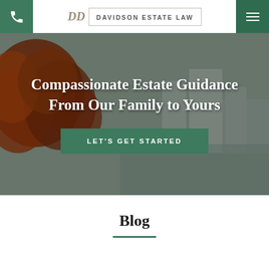Davidson Estate Law — header with phone button, logo, and menu button
[Figure (screenshot): Hero background image showing autumn red-leafed trees on the left and a city waterfront with buildings on the right, overlaid with a semi-transparent dark overlay.]
Compassionate Estate Guidance From Our Family to Yours
LET'S GET STARTED
Blog